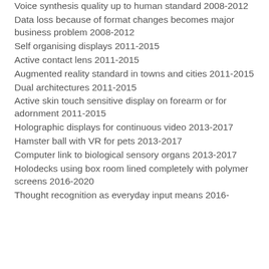Voice synthesis quality up to human standard 2008-2012
Data loss because of format changes becomes major business problem 2008-2012
Self organising displays 2011-2015
Active contact lens 2011-2015
Augmented reality standard in towns and cities 2011-2015
Dual architectures 2011-2015
Active skin touch sensitive display on forearm or for adornment 2011-2015
Holographic displays for continuous video 2013-2017
Hamster ball with VR for pets 2013-2017
Computer link to biological sensory organs 2013-2017
Holodecks using box room lined completely with polymer screens 2016-2020
Thought recognition as everyday input means 2016-